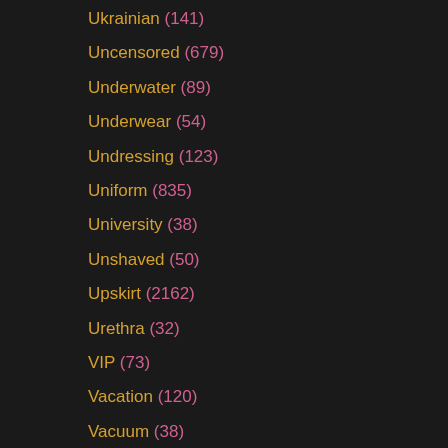Ukrainian (141)
Uncensored (679)
Underwater (89)
Underwear (54)
Undressing (123)
Uniform (835)
University (38)
Unshaved (50)
Upskirt (2162)
Urethra (32)
VIP (73)
Vacation (120)
Vacuum (38)
Vampire (36)
Van (147)
Vegetable (153)